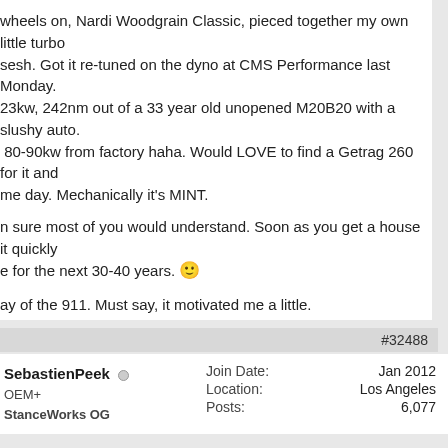wheels on, Nardi Woodgrain Classic, pieced together my own little turbo sesh. Got it re-tuned on the dyno at CMS Performance last Monday. 23kw, 242nm out of a 33 year old unopened M20B20 with a slushy auto. 80-90kw from factory haha. Would LOVE to find a Getrag 260 for it and me day. Mechanically it's MINT.
n sure most of you would understand. Soon as you get a house it quickly e for the next 30-40 years. 🙂
ay of the 911. Must say, it motivated me a little.
IG: wade_rees_
BMW 320i E30 turbo
Reply With Quote
#32488
SebastienPeek
OEM+
StanceWorks OG
| Join Date: | Jan 2012 |
| Location: | Los Angeles |
| Posts: | 6,077 |